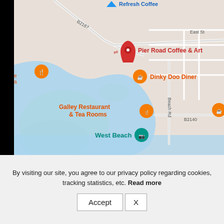[Figure (map): Google Maps screenshot showing Pier Road Coffee & Art (red pin), Dinky Doo Diner (orange pin), Galley Restaurant & Tea Rooms (orange pin), West Beach (teal pin), Refresh Coffee (blue pin at top), and another coffee venue. Roads including B2187 and B2140 visible. River and green park area visible. East St labeled.]
By visiting our site, you agree to our privacy policy regarding cookies, tracking statistics, etc. Read more